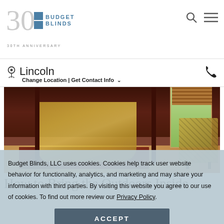Budget Blinds 30th Anniversary
Lincoln
Change Location | Get Contact Info
[Figure (photo): Bedroom interior with dark wood four-poster bed, gold/cream draped fabric, oriental rug on hardwood floors, window with wood blinds, and striped armchair]
How to Bring the Outdoors Inside
Budget Blinds, LLC uses cookies. Cookies help track user website behavior for functionality, analytics, and marketing and may share your information with third parties. By visiting this website you agree to our use of cookies. To find out more review our Privacy Policy.
ACCEPT